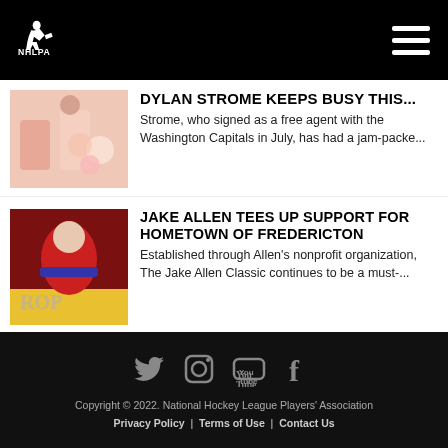NHLPA
DYLAN STROME KEEPS BUSY THIS...
Strome, who signed as a free agent with the Washington Capitals in July, has had a jam-packe...
JAKE ALLEN TEES UP SUPPORT FOR HOMETOWN OF FREDERICTON
Established through Allen's nonprofit organization, The Jake Allen Classic continues to be a must-...
Copyright © 2022. National Hockey League Players' Association
Privacy Policy | Terms of Use | Contact Us